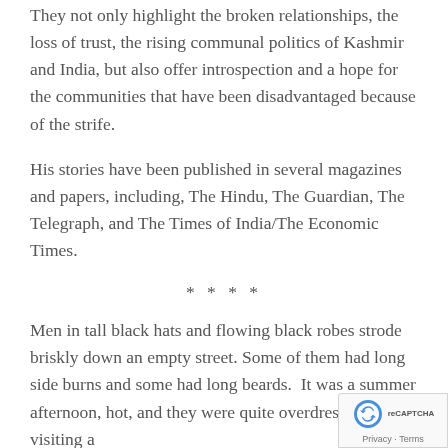They not only highlight the broken relationships, the loss of trust, the rising communal politics of Kashmir and India, but also offer introspection and a hope for the communities that have been disadvantaged because of the strife.
His stories have been published in several magazines and papers, including, The Hindu, The Guardian, The Telegraph, and The Times of India/The Economic Times.
****
Men in tall black hats and flowing black robes strode briskly down an empty street. Some of them had long side burns and some had long beards.  It was a summer afternoon, hot, and they were quite overdressed. I was visiting a